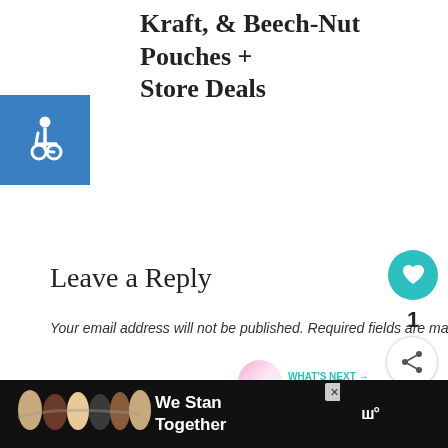New Coupons: Campbell's, Kraft, & Beech-Nut Pouches + Store Deals
[Figure (logo): Blue square accessibility icon with wheelchair symbol in white]
[Figure (infographic): Teal heart button with count of 1 and share button]
Leave a Reply
Your email address will not be published. Required fields are marked *
[Figure (illustration): What's Next panel: Playtex Simply Gentle Glide...]
[Figure (photo): Advertisement banner: We Stand Together - group of people with arms around each other on dark background]